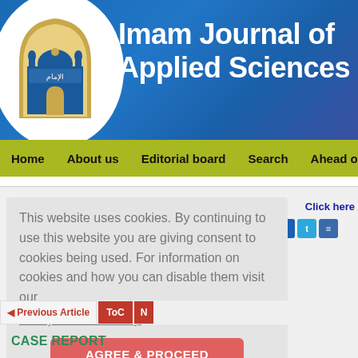[Figure (logo): Imam Journal of Applied Sciences logo with mosque illustration in a house-shaped frame]
Imam Journal of Applied Sciences
Home  About us  Editorial board  Search  Ahead of print  Cur
This website uses cookies. By continuing to use this website you are giving consent to cookies being used. For information on cookies and how you can disable them visit our
Privacy and Cookie Policy.
AGREE & PROCEED
Click here
Previous Article  ToC  N
CASE REPORT